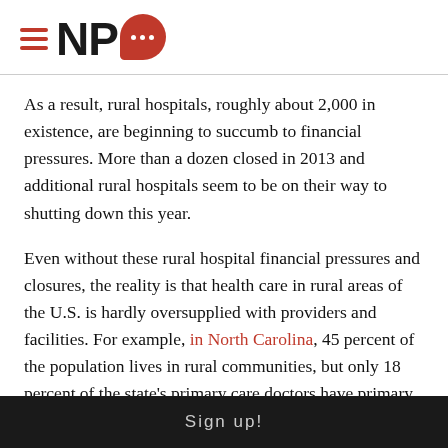[Figure (logo): NPQ logo with hamburger menu lines on the left, bold NPQ text, and a red speech bubble with three white dots]
As a result, rural hospitals, roughly about 2,000 in existence, are beginning to succumb to financial pressures. More than a dozen closed in 2013 and additional rural hospitals seem to be on their way to shutting down this year.
Even without these rural hospital financial pressures and closures, the reality is that health care in rural areas of the U.S. is hardly oversupplied with providers and facilities. For example, in North Carolina, 45 percent of the population lives in rural communities, but only 18 percent of the state's primary care doctors have primary practices in rural communities. As a result, people in rural communities like those in Western North Carolina have to turn to nonprofit community health clinics, such as the Celo Health
Sign up!